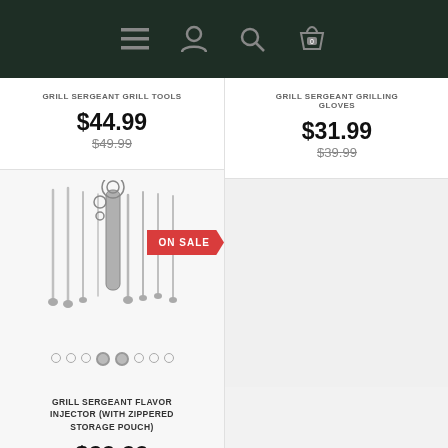Navigation header with menu, user, search, and cart icons
GRILL SERGEANT GRILL TOOLS
$44.99
$49.99
GRILL SERGEANT GRILLING GLOVES
$31.99
$39.99
[Figure (photo): Grill Sergeant Flavor Injector set with ON SALE badge]
GRILL SERGEANT FLAVOR INJECTOR (WITH ZIPPERED STORAGE POUCH)
$29.99